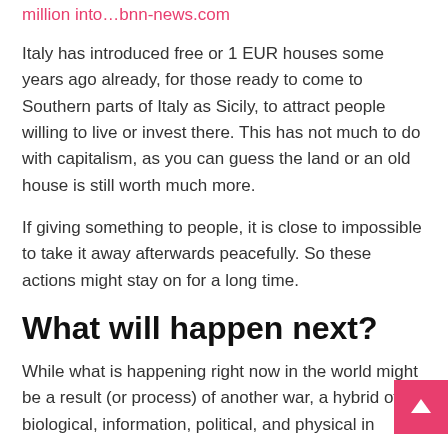million into…bnn-news.com
Italy has introduced free or 1 EUR houses some years ago already, for those ready to come to Southern parts of Italy as Sicily, to attract people willing to live or invest there. This has not much to do with capitalism, as you can guess the land or an old house is still worth much more.
If giving something to people, it is close to impossible to take it away afterwards peacefully. So these actions might stay on for a long time.
What will happen next?
While what is happening right now in the world might be a result (or process) of another war, a hybrid of biological, information, political, and physical in